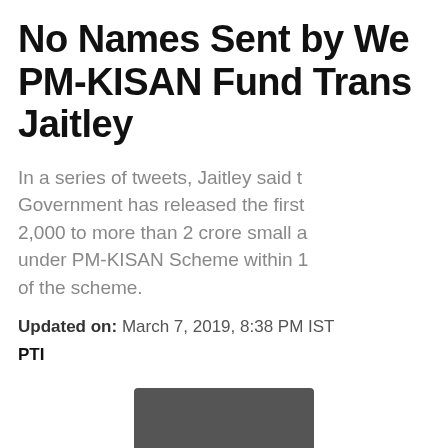No Names Sent by West Bengal for PM-KISAN Fund Transfer, Says Jaitley
In a series of tweets, Jaitley said that the Government has released the first instalment of Rs 2,000 to more than 2 crore small and marginal farmers under PM-KISAN Scheme within 11 days of the scheme.
Updated on: March 7, 2019, 8:38 PM IST
PTI
[Figure (photo): Partial thumbnail image visible at the bottom of the page]